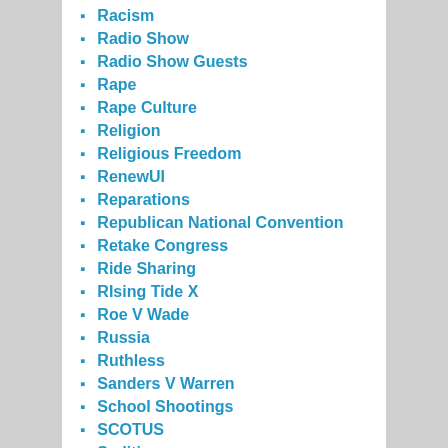Racism
Radio Show
Radio Show Guests
Rape
Rape Culture
Religion
Religious Freedom
RenewUI
Reparations
Republican National Convention
Retake Congress
Ride Sharing
RIsing Tide X
Roe V Wade
Russia
Ruthless
Sanders V Warren
School Shootings
SCOTUS
Sedition
Silly Laws
Social Media